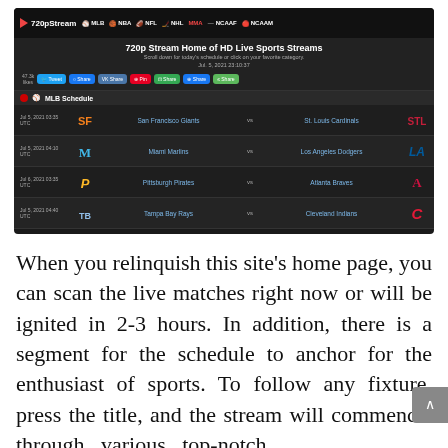[Figure (screenshot): Screenshot of 720pStream website showing MLB Schedule with games: San Francisco Giants vs St. Louis Cardinals, Miami Marlins vs Los Angeles Dodgers, Pittsburgh Pirates vs Atlanta Braves, Tampa Bay Rays vs Cleveland Indians. Navigation bar shows MLB, NBA, NFL, NHL, MMA, NCAAF, NCAAM. Hero text: 720p Stream Home of HD Live Sports Streams. Social share buttons visible.]
When you relinquish this site's home page, you can scan the live matches right now or will be ignited in 2-3 hours. In addition, there is a segment for the schedule to anchor for the enthusiast of sports. To follow any fixture, press the title, and the stream will commence through various top-notch